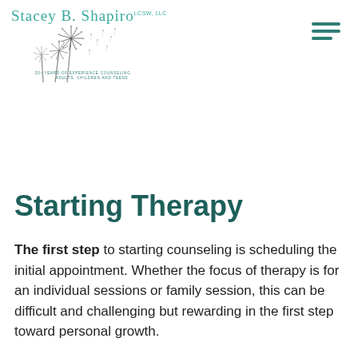Stacey B. Shapiro LCSW, LLC — 20+ YEARS OF EXPERIENCE COUNSELING ADULTS, CHILDREN AND TEENS
Starting Therapy
The first step to starting counseling is scheduling the initial appointment. Whether the focus of therapy is for an individual sessions or family session, this can be difficult and challenging but rewarding in the first step toward personal growth.